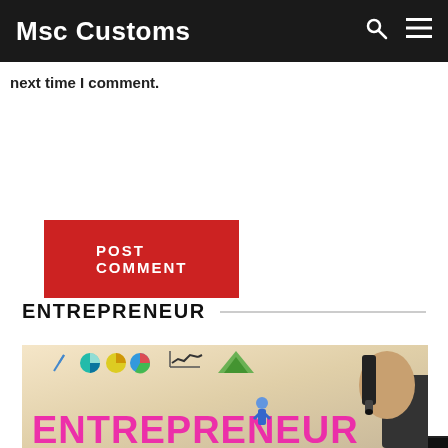Msc Customs
next time I comment.
POST COMMENT
Search...
ENTREPRENEUR
[Figure (photo): Entrepreneur illustration image showing business icons (pie charts, arrows, graphs) and the word ENTREPRENEUR written in pink/magenta letters, with a hand holding a marker pen]